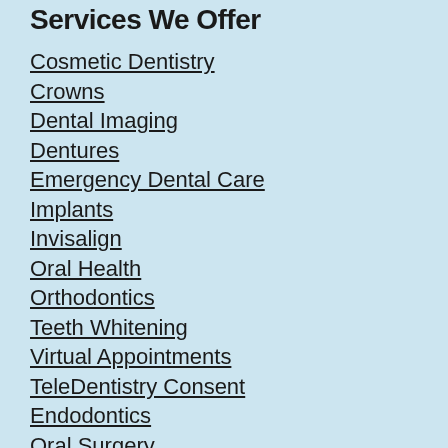Services We Offer
Cosmetic Dentistry
Crowns
Dental Imaging
Dentures
Emergency Dental Care
Implants
Invisalign
Oral Health
Orthodontics
Teeth Whitening
Virtual Appointments
TeleDentistry Consent
Endodontics
Oral Surgery
Periodontal Services